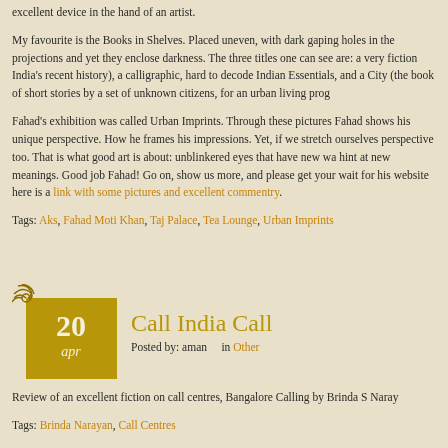excellent device in the hand of an artist.
My favourite is the Books in Shelves. Placed uneven, with dark gaping holes in the projections and yet they enclose darkness. The three titles one can see are: a very fiction India's recent history), a calligraphic, hard to decode Indian Essentials, and a City (the book of short stories by a set of unknown citizens, for an urban living prog
Fahad's exhibition was called Urban Imprints. Through these pictures Fahad shows his unique perspective. How he frames his impressions. Yet, if we stretch ourselves perspective too. That is what good art is about: unblinkered eyes that have new wa hint at new meanings. Good job Fahad! Go on, show us more, and please get your wait for his website here is a link with some pictures and excellent commentry.
Tags: Aks, Fahad Moti Khan, Taj Palace, Tea Lounge, Urban Imprints
[Figure (other): Decorative corner ornament for blog post date badge]
Call India Call
Posted by: aman    in Other
Review of an excellent fiction on call centres, Bangalore Calling by Brinda S Naray
Tags: Brinda Narayan, Call Centres